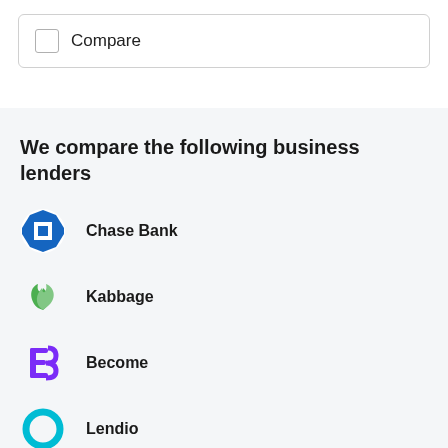Compare
We compare the following business lenders
Chase Bank
Kabbage
Become
Lendio
LoanBuilder